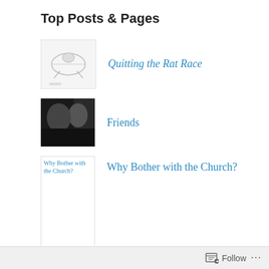Top Posts & Pages
Quitting the Rat Race
Friends
Why Bother with the Church?
How to have a Happy New Year
Follow ...